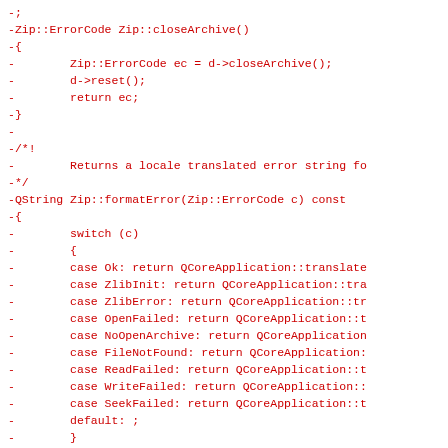[Figure (other): Code diff snippet in red monospace font showing removed lines of C++ source code for Zip::closeArchive() and Zip::formatError() functions]